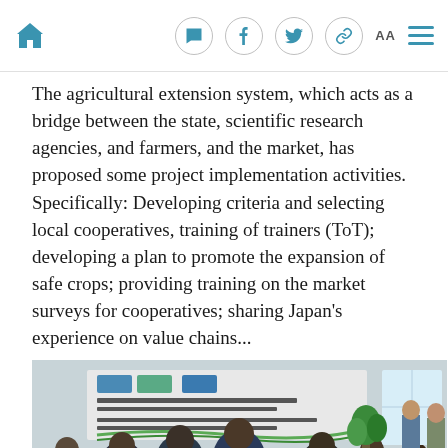Navigation bar with home, message, facebook, twitter, link, AA, and menu icons
The agricultural extension system, which acts as a bridge between the state, scientific research agencies, and farmers, and the market, has proposed some project implementation activities. Specifically: Developing criteria and selecting local cooperatives, training of trainers (ToT); developing a plan to promote the expansion of safe crops; providing training on the market surveys for cooperatives; sharing Japan's experience on value chains...
[Figure (photo): Photo of a meeting room with people seated around a conference table. A presentation banner is visible on the wall in the background. Japanese and Vietnamese flags are on the table. Participants appear to be in a formal meeting setting.]